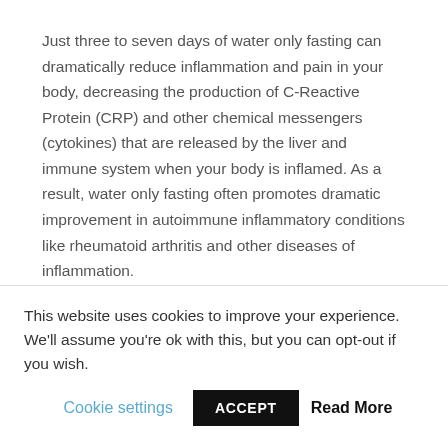Just three to seven days of water only fasting can dramatically reduce inflammation and pain in your body, decreasing the production of C-Reactive Protein (CRP) and other chemical messengers (cytokines) that are released by the liver and immune system when your body is inflamed. As a result, water only fasting often promotes dramatic improvement in autoimmune inflammatory conditions like rheumatoid arthritis and other diseases of inflammation.
This website uses cookies to improve your experience. We'll assume you're ok with this, but you can opt-out if you wish.
Cookie settings | ACCEPT | Read More